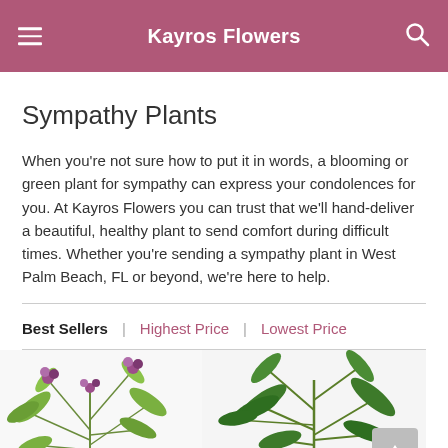Kayros Flowers
Sympathy Plants
When you're not sure how to put it in words, a blooming or green plant for sympathy can express your condolences for you. At Kayros Flowers you can trust that we'll hand-deliver a beautiful, healthy plant to send comfort during difficult times. Whether you're sending a sympathy plant in West Palm Beach, FL or beyond, we're here to help.
Best Sellers | Highest Price | Lowest Price
[Figure (photo): Two sympathy plant arrangements shown side by side — left: a purple orchid with green foliage; right: a green tropical plant arrangement]